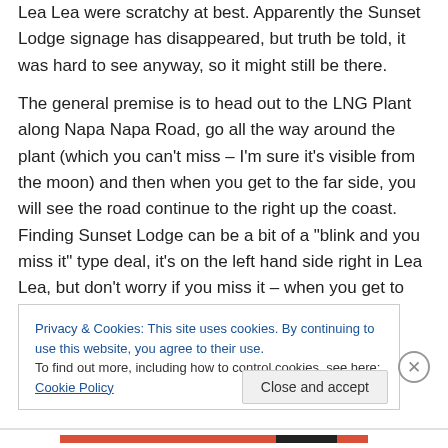Lea Lea were scratchy at best. Apparently the Sunset Lodge signage has disappeared, but truth be told, it was hard to see anyway, so it might still be there.
The general premise is to head out to the LNG Plant along Napa Napa Road, go all the way around the plant (which you can’t miss – I’m sure it’s visible from the moon) and then when you get to the far side, you will see the road continue to the right up the coast. Finding Sunset Lodge can be a bit of a “blink and you miss it” type deal, it’s on the left hand side right in Lea Lea, but don’t worry if you miss it – when you get to the end of the road, there is a
Privacy & Cookies: This site uses cookies. By continuing to use this website, you agree to their use.
To find out more, including how to control cookies, see here: Cookie Policy
Close and accept